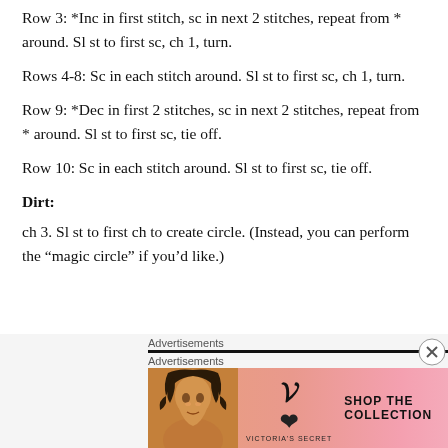Row 3: *Inc in first stitch, sc in next 2 stitches, repeat from * around. Sl st to first sc, ch 1, turn.
Rows 4-8: Sc in each stitch around. Sl st to first sc, ch 1, turn.
Row 9: *Dec in first 2 stitches, sc in next 2 stitches, repeat from * around. Sl st to first sc, tie off.
Row 10: Sc in each stitch around. Sl st to first sc, tie off.
Dirt:
ch 3. Sl st to first ch to create circle. (Instead, you can perform the “magic circle” if you’d like.)
[Figure (other): Advertisement banner for Victoria's Secret showing a woman model on the left, VS logo in center, 'SHOP THE COLLECTION' text, and a 'SHOP NOW' button on the right with a pink gradient background.]